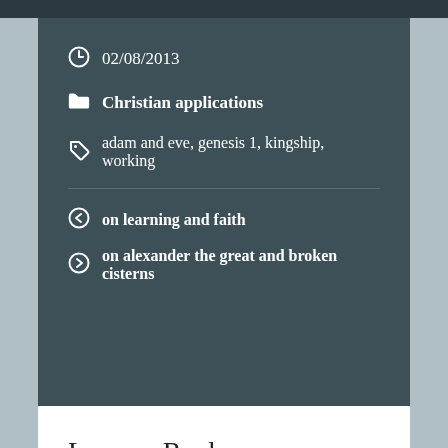02/08/2013
Christian applications
adam and eve, genesis 1, kingship, working
on learning and faith
on alexander the great and broken cisterns
Leave a Reply
Your email address will not be published. Required fields are marked